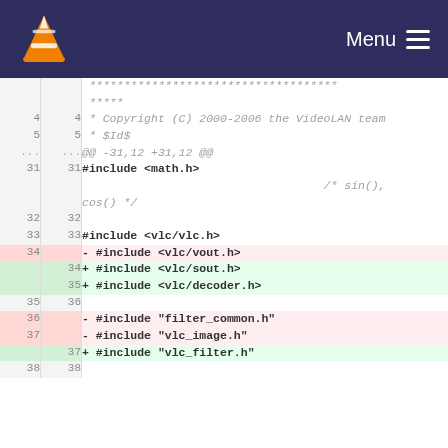VLC media player — Menu
Code diff viewer showing changes to a C source file. Lines 4-5 show copyright header and $Id$. Line 31: #include <math.h> /* sin(), cos() */. Line 33: #include <vlc/vlc.h>. Line 34 removed: #include <vlc/vout.h>. Lines 34-35 added: #include <vlc/sout.h> and #include <vlc/decoder.h>. Lines 36-37 removed: #include "filter_common.h" and #include "vlc_image.h". Line 37 added: #include "vlc_filter.h". Lines 35, 32, 38 are blank context lines.